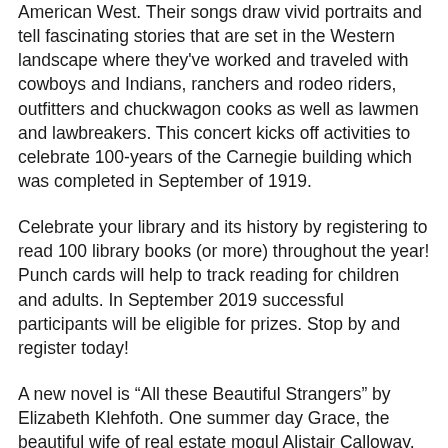American West. Their songs draw vivid portraits and tell fascinating stories that are set in the Western landscape where they've worked and traveled with cowboys and Indians, ranchers and rodeo riders, outfitters and chuckwagon cooks as well as lawmen and lawbreakers. This concert kicks off activities to celebrate 100-years of the Carnegie building which was completed in September of 1919.
Celebrate your library and its history by registering to read 100 library books (or more) throughout the year! Punch cards will help to track reading for children and adults. In September 2019 successful participants will be eligible for prizes. Stop by and register today!
A new novel is “All these Beautiful Strangers” by Elizabeth Klehfoth. One summer day Grace, the beautiful wife of real estate mogul Alistair Calloway, vanished from the family lake house without a trace, leaving behind her seven year-